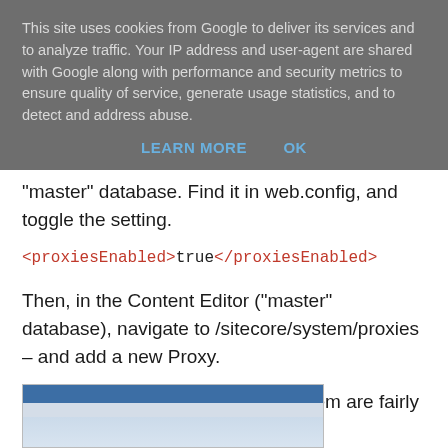This site uses cookies from Google to deliver its services and to analyze traffic. Your IP address and user-agent are shared with Google along with performance and security metrics to ensure quality of service, generate usage statistics, and to detect and address abuse.
LEARN MORE    OK
"master" database. Find it in web.config, and toggle the setting.
<proxiesEnabled>true</proxiesEnabled>
Then, in the Content Editor (“master” database), navigate to /sitecore/system/proxies – and add a new Proxy.
Most of the settings on the Proxy Item are fairly straight forward.
[Figure (screenshot): A partial screenshot of a web browser window showing a Sitecore interface, partially visible at the bottom of the page.]